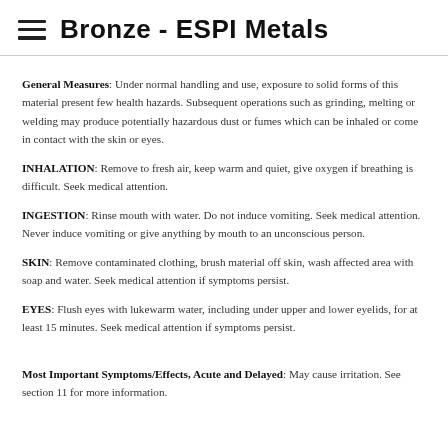Bronze - ESPI Metals
General Measures: Under normal handling and use, exposure to solid forms of this material present few health hazards. Subsequent operations such as grinding, melting or welding may produce potentially hazardous dust or fumes which can be inhaled or come in contact with the skin or eyes.
INHALATION: Remove to fresh air, keep warm and quiet, give oxygen if breathing is difficult. Seek medical attention.
INGESTION: Rinse mouth with water. Do not induce vomiting. Seek medical attention. Never induce vomiting or give anything by mouth to an unconscious person.
SKIN: Remove contaminated clothing, brush material off skin, wash affected area with soap and water. Seek medical attention if symptoms persist.
EYES: Flush eyes with lukewarm water, including under upper and lower eyelids, for at least 15 minutes. Seek medical attention if symptoms persist.
Most Important Symptoms/Effects, Acute and Delayed: May cause irritation. See section 11 for more information.